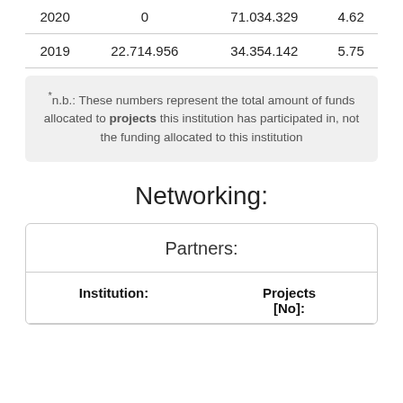| 2020 | 0 | 71.034.329 | 4.62 |
| 2019 | 22.714.956 | 34.354.142 | 5.75 |
*n.b.: These numbers represent the total amount of funds allocated to projects this institution has participated in, not the funding allocated to this institution
Networking:
| Institution: | Projects [No]: |
| --- | --- |